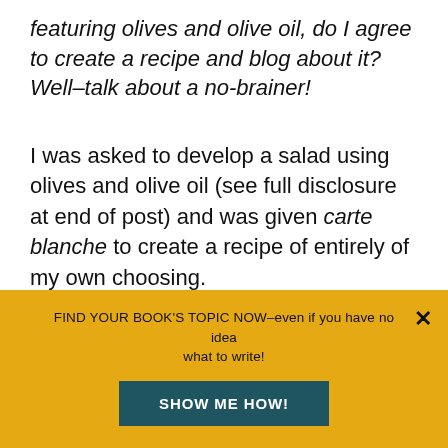featuring olives and olive oil, do I agree to create a recipe and blog about it? Well–talk about a no-brainer!
I was asked to develop a salad using olives and olive oil (see full disclosure at end of post) and was given carte blanche to create a recipe of entirely of my own choosing.
And let me tell you, I had a load of fun
FIND YOUR BOOK'S TOPIC NOW–even if you have no idea what to write!
SHOW ME HOW!